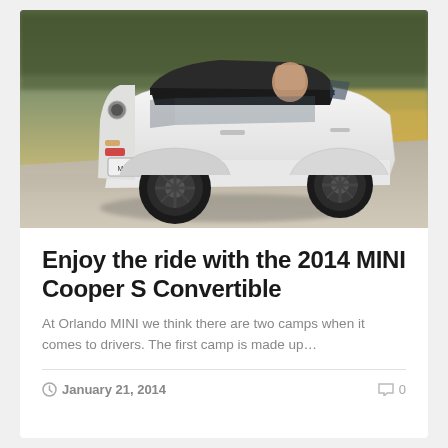[Figure (photo): A white MINI Cooper S Convertible with the top down, photographed from the rear-left angle while driving on a road with blurred background of trees and dry grass.]
Enjoy the ride with the 2014 MINI Cooper S Convertible
At Orlando MINI we think there are two camps when it comes to drivers.  The first camp is made up…
January 21, 2014  0